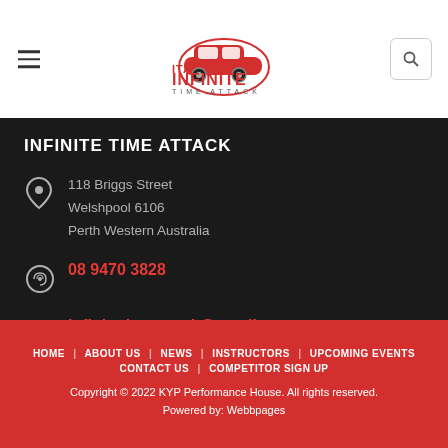[Figure (logo): ITA Infinite Time Attack logo with red car icon and text]
INFINITE TIME ATTACK
118 Briggs Street
Welshpool 6106
Perth Western Australia
08 9470 3828
infinitetimeattack@gmail.com
HOME  ABOUT US  NEWS  INSTRUCTORS  UPCOMING EVENTS  CONTACT US  COMPETITOR SIGN UP
Copyright © 2022 KYP Performance House. All rights reserved.
Powered by: Webbpages